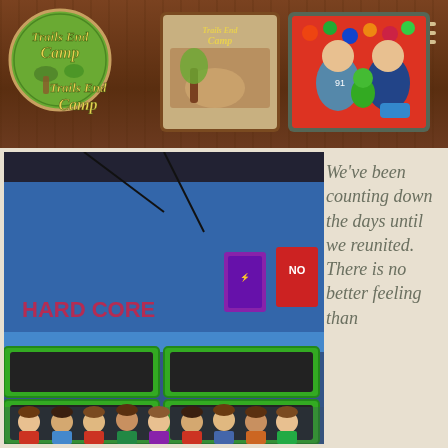[Figure (photo): Trails End Camp website header banner with logo on the left showing 'Trails End Camp' in stylized text on a green circular background, 'MENU' text with hamburger icon on the right, and photo collage of camp activities and children in the center, all on a dark brown wood-textured background]
[Figure (photo): Indoor trampoline park with blue walls, green-bordered trampolines, and a group of girls posing in front of the trampolines]
We've been counting down the days until we reunited. There is no better feeling than